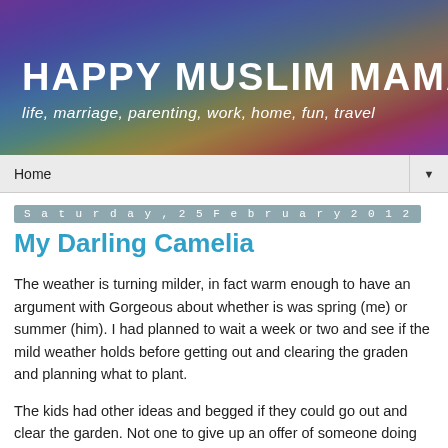[Figure (illustration): Blog banner header with rainbow/gradient background colors and white text. Title reads 'HAPPY MUSLIM MAMA' with subtitle 'life, marriage, parenting, work, home, fun, travel']
Home ▼
Saturday, 25 February 2012
My Darling Camelia
The weather is turning milder, in fact warm enough to have an argument with Gorgeous about whether is was spring (me) or summer (him). I had planned to wait a week or two and see if the mild weather holds before getting out and clearing the graden and planning what to plant.
The kids had other ideas and begged if they could go out and clear the garden. Not one to give up an offer of someone doing some cleaning for me, I let them out. Little Man came